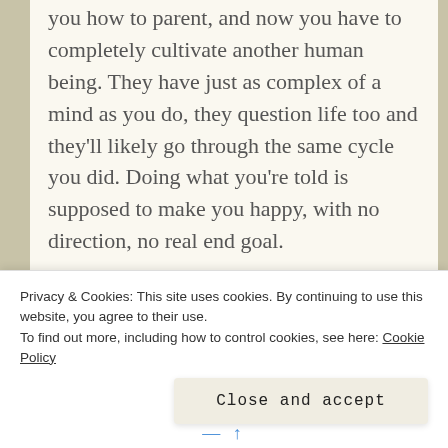you how to parent, and now you have to completely cultivate another human being. They have just as complex of a mind as you do, they question life too and they'll likely go through the same cycle you did. Doing what you're told is supposed to make you happy, with no direction, no real end goal.
And then, just like that one fateful day comes and that whole cycle ends for you. There are hundreds, maybe thousands of theories on what happens when we die, we'll never know. Personally, I believe that there's nothing, just like a sleep without dreams, a sleep you won't wake up from. All that build-up, all that work to
Privacy & Cookies: This site uses cookies. By continuing to use this website, you agree to their use.
To find out more, including how to control cookies, see here: Cookie Policy
Close and accept